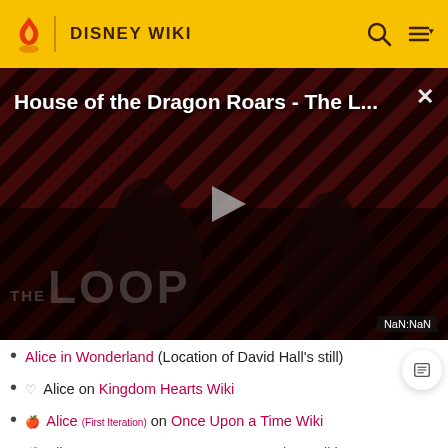DISNEY WIKI
[Figure (screenshot): Video player showing 'House of the Dragon Roars - The L...' with a diagonal red/black stripe background, play button, silhouetted figures, THE LOOP watermark, and NaN:NaN timestamp.]
Alice in Wonderland (Location of David Hall's still)
♡ Alice on Kingdom Hearts Wiki
🍎 Alice (First Iteration) on Once Upon a Time Wiki
🍎 Alice (Second Iteration) on Once Upon a Time Wiki